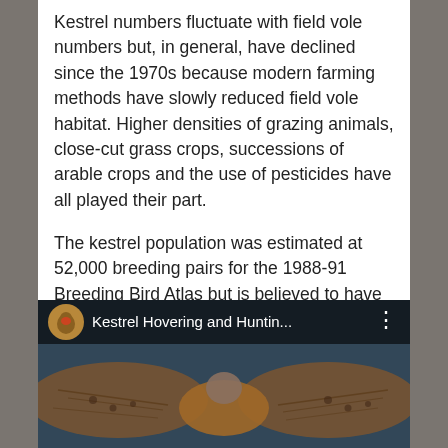Kestrel numbers fluctuate with field vole numbers but, in general, have declined since the 1970s because modern farming methods have slowly reduced field vole habitat. Higher densities of grazing animals, close-cut grass crops, successions of arable crops and the use of pesticides have all played their part.
The kestrel population was estimated at 52,000 breeding pairs for the 1988-91 Breeding Bird Atlas but is believed to have fallen by almost 30% in the last 25 years. Their present UK Conservation Status is amber.
[Figure (screenshot): Video thumbnail showing a kestrel in flight with wings spread, with a top bar showing a robin icon, the title 'Kestrel Hovering and Huntin...' and a three-dot menu icon.]